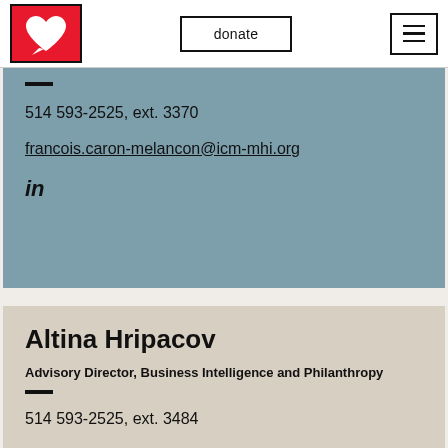donate
514 593-2525, ext. 3370
francois.caron-melancon@icm-mhi.org
in
Altina Hripacov
Advisory Director, Business Intelligence and Philanthropy
514 593-2525, ext. 3484